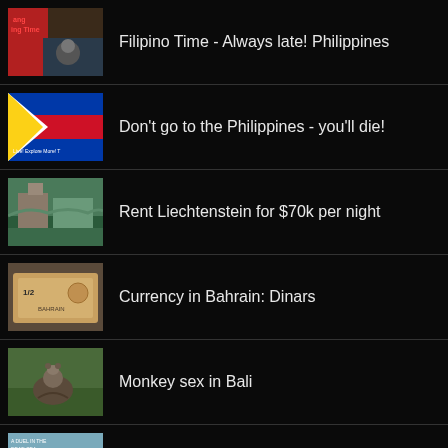Filipino Time - Always late! Philippines
Don't go to the Philippines - you'll die!
Rent Liechtenstein for $70k per night
Currency in Bahrain: Dinars
Monkey sex in Bali
Floating in the Dead Sea in Jordan